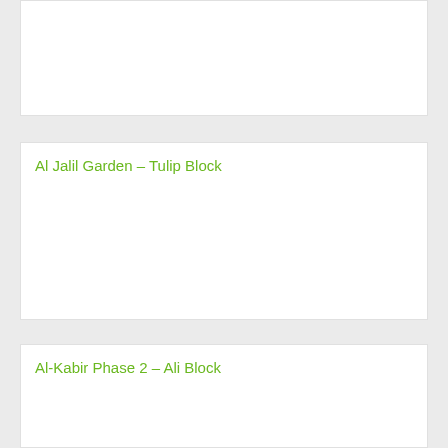Al Jalil Garden - Tulip Block
Al-Kabir Phase 2 - Ali Block